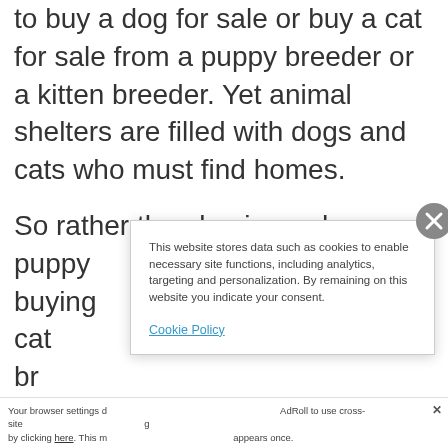to buy a dog for sale or buy a cat for sale from a puppy breeder or a kitten breeder. Yet animal shelters are filled with dogs and cats who must find homes.
So rather than buying a dog or puppy from a dog breeder, buying a kitten or cat breeder, consider adopting a dog or puppy or animal from a local animal shelter.
This website stores data such as cookies to enable necessary site functions, including analytics, targeting and personalization. By remaining on this website you indicate your consent.
Cookie Policy
Your browser settings do not allow AdRoll to use cross-site tracking. by clicking here. This message only appears once.